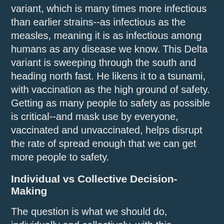variant, which is many times more infectious than earlier strains--as infectious as the measles, meaning it is as infectious among humans as any disease we know. This Delta variant is sweeping through the south and heading north fast. He likens it to a tsunami, with vaccination as the high ground of safety. Getting as many people to safety as possible is critical--and mask use by everyone, vaccinated and unvaccinated, helps disrupt the rate of spread enough that we can get more people to safety.
Individual vs Collective Decision-Making
The question is what we should do, individually and collectively, with this information. And here, I want to focus on the phrase "individually and collectively." The first question is about what is the right thing for me to do, what is the right thing for you to do, what is the right thing for all of us as individuals to do granted this information. The second question is about public policy--and questions about public policy are generally about what we as a society will require and what we will permit.
These are different questions. When we are talking about